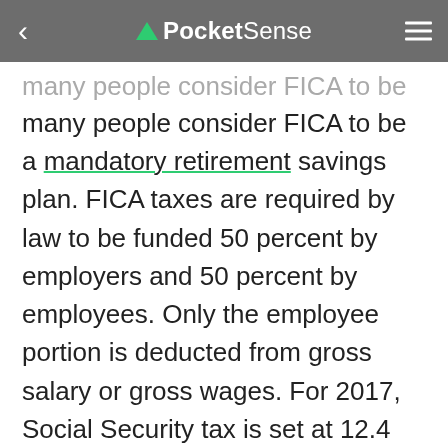PocketSense
many people consider FICA to be a mandatory retirement savings plan. FICA taxes are required by law to be funded 50 percent by employers and 50 percent by employees. Only the employee portion is deducted from gross salary or gross wages. For 2017, Social Security tax is set at 12.4 percent of gross salary up to $127,200. After $127,200, no Social Security tax is due. For 2018, the maximum gross salary taxed is $128,400.